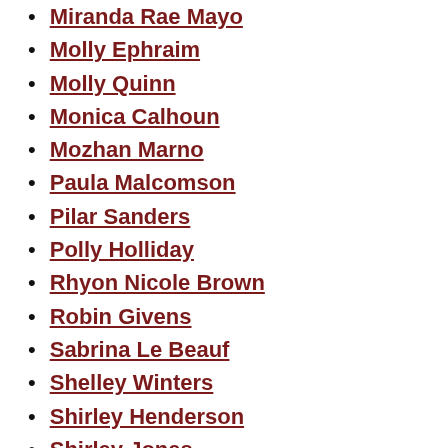Miranda Rae Mayo
Molly Ephraim
Molly Quinn
Monica Calhoun
Mozhan Marno
Paula Malcomson
Pilar Sanders
Polly Holliday
Rhyon Nicole Brown
Robin Givens
Sabrina Le Beauf
Shelley Winters
Shirley Henderson
Shirley Jones
Sky Katz
Sofia Milos